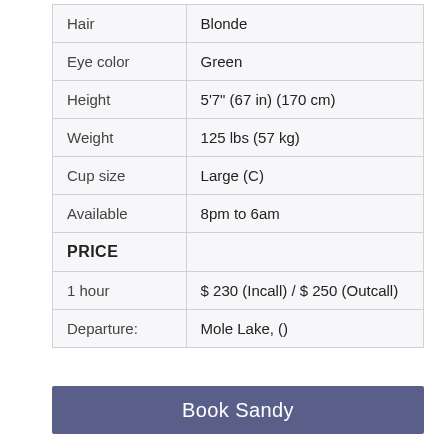| Hair | Blonde |
| Eye color | Green |
| Height | 5'7" (67 in) (170 cm) |
| Weight | 125 lbs (57 kg) |
| Cup size | Large (C) |
| Available | 8pm to 6am |
| PRICE |  |
| 1 hour | $ 230 (Incall) / $ 250 (Outcall) |
| Departure: | Mole Lake, () |
Book Sandy